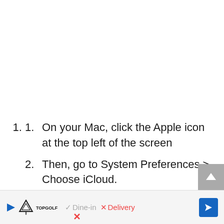On your Mac, click the Apple icon at the top left of the screen
Then, go to System Preferences > Choose iCloud.
Check the box next to the iCloud Photo Library.
[Figure (screenshot): Advertisement banner at bottom of page showing TopGolf logo, Dine-in and Delivery options with checkmark and X, and navigation arrow button]